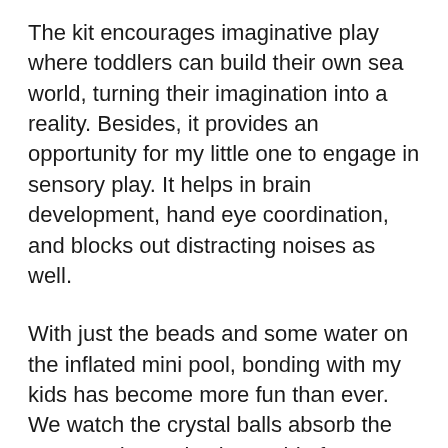The kit encourages imaginative play where toddlers can build their own sea world, turning their imagination into a reality. Besides, it provides an opportunity for my little one to engage in sensory play. It helps in brain development, hand eye coordination, and blocks out distracting noises as well.
With just the beads and some water on the inflated mini pool, bonding with my kids has become more fun than ever. We watch the crystal balls absorb the water and grow in size. Aside from nestling the miniature sea animals on the water beads, the gel can also act as little sensory balls that my daughter can smash.